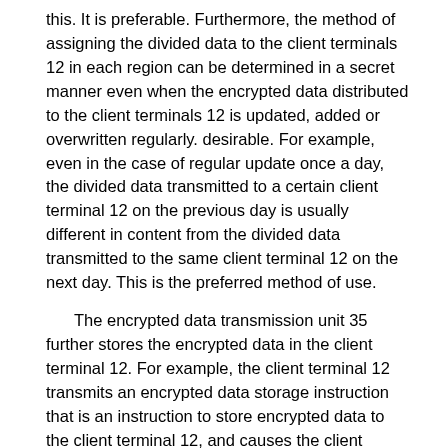this. It is preferable. Furthermore, the method of assigning the divided data to the client terminals 12 in each region can be determined in a secret manner even when the encrypted data distributed to the client terminals 12 is updated, added or overwritten regularly. desirable. For example, even in the case of regular update once a day, the divided data transmitted to a certain client terminal 12 on the previous day is usually different in content from the divided data transmitted to the same client terminal 12 on the next day. This is the preferred method of use.
The encrypted data transmission unit 35 further stores the encrypted data in the client terminal 12. For example, the client terminal 12 transmits an encrypted data storage instruction that is an instruction to store encrypted data to the client terminal 12, and causes the client terminal 12 to execute the encrypted data storage instruction, thereby causing the client terminal 12 to execute the encrypted data storage instruction. Remember.
The time series information storage means 55 shown in FIG. 2 includes the time series information of the data file encryption and integration means 31, the encrypted time